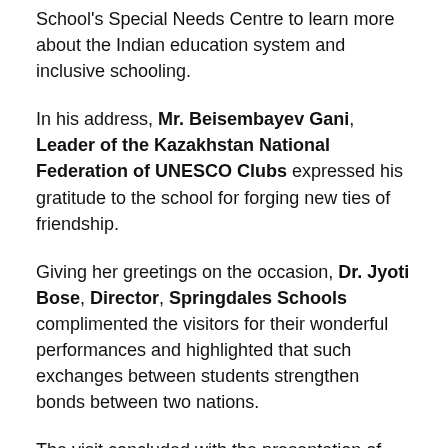School's Special Needs Centre to learn more about the Indian education system and inclusive schooling.
In his address, Mr. Beisembayev Gani, Leader of the Kazakhstan National Federation of UNESCO Clubs expressed his gratitude to the school for forging new ties of friendship.
Giving her greetings on the occasion, Dr. Jyoti Bose, Director, Springdales Schools complimented the visitors for their wonderful performances and highlighted that such exchanges between students strengthen bonds between two nations.
The visit concluded with the presentation of mementos to the ambassadors of peace and friendship from